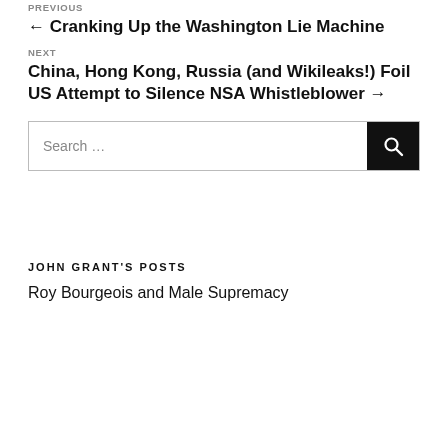← Cranking Up the Washington Lie Machine
NEXT
China, Hong Kong, Russia (and Wikileaks!) Foil US Attempt to Silence NSA Whistleblower →
Search …
JOHN GRANT'S POSTS
Roy Bourgeois and Male Supremacy